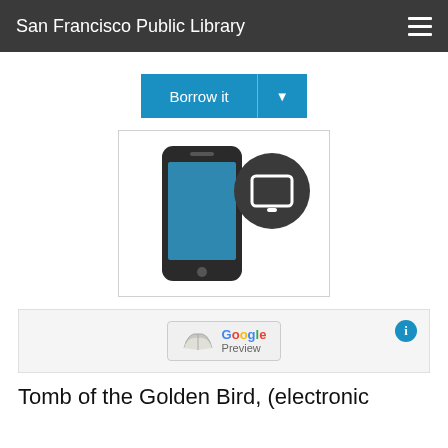San Francisco Public Library
[Figure (screenshot): Borrow it button — blue button with dropdown arrow]
[Figure (illustration): Smartphone icon with tablet/e-reader icon overlay badge]
[Figure (screenshot): Google Preview button with book icon and info icon]
Tomb of the Golden Bird, (electronic